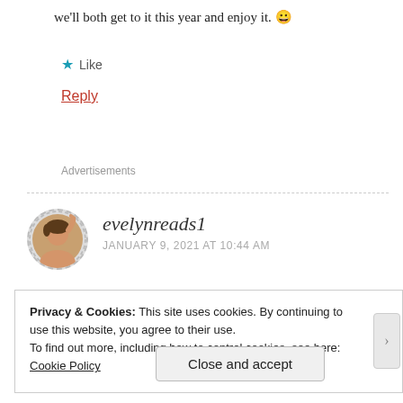we'll both get to it this year and enjoy it. 😀
★ Like
Reply
Advertisements
evelynreads1
JANUARY 9, 2021 AT 10:44 AM
Privacy & Cookies: This site uses cookies. By continuing to use this website, you agree to their use.
To find out more, including how to control cookies, see here: Cookie Policy
Close and accept